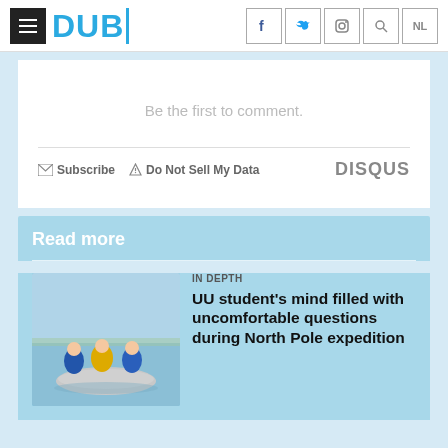DUB
Be the first to comment.
Subscribe   Do Not Sell My Data   DISQUS
Read more
IN DEPTH
UU student's mind filled with uncomfortable questions during North Pole expedition
[Figure (photo): Three people in blue and yellow kayaking gear on an inflatable boat on calm water with a flat landscape behind them]